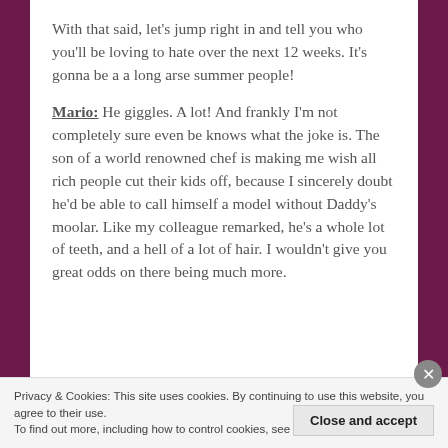With that said, let's jump right in and tell you who you'll be loving to hate over the next 12 weeks. It's gonna be a a long arse summer people!
Mario: He giggles. A lot! And frankly I'm not completely sure even be knows what the joke is. The son of a world renowned chef is making me wish all rich people cut their kids off, because I sincerely doubt he'd be able to call himself a model without Daddy's moolar. Like my colleague remarked, he's a whole lot of teeth, and a hell of a lot of hair. I wouldn't give you great odds on there being much more.
Privacy & Cookies: This site uses cookies. By continuing to use this website, you agree to their use.
To find out more, including how to control cookies, see here: Cookie Policy